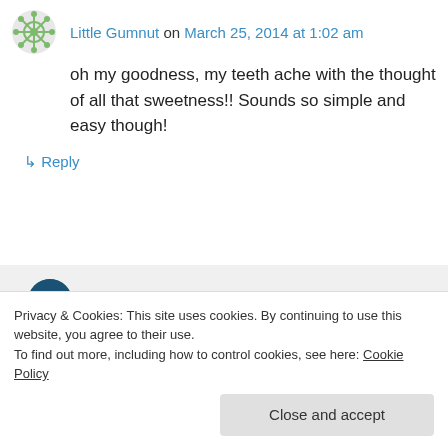Little Gumnut on March 25, 2014 at 1:02 am
oh my goodness, my teeth ache with the thought of all that sweetness!! Sounds so simple and easy though!
↳ Reply
thehungrymum on March 25, 2014 at 3:12 am
It is a sugar-esque dish and to be honest it
Privacy & Cookies: This site uses cookies. By continuing to use this website, you agree to their use. To find out more, including how to control cookies, see here: Cookie Policy
Close and accept